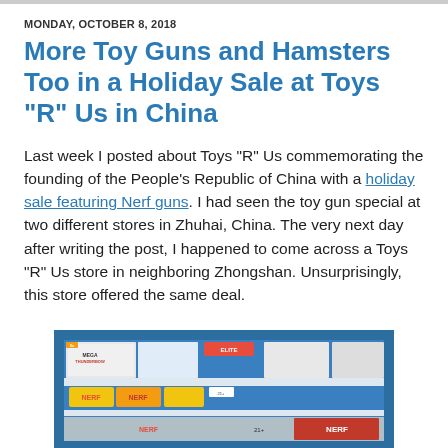MONDAY, OCTOBER 8, 2018
More Toy Guns and Hamsters Too in a Holiday Sale at Toys "R" Us in China
Last week I posted about Toys "R" Us commemorating the founding of the People's Republic of China with a holiday sale featuring Nerf guns. I had seen the toy gun special at two different stores in Zhuhai, China. The very next day after writing the post, I happened to come across a Toys "R" Us store in neighboring Zhongshan. Unsurprisingly, this store offered the same deal.
[Figure (photo): Photo of toy gun display at Toys R Us store in China, showing Nerf Mega Thunderbow and other Nerf gun products on store shelves with blue and white product boxes]